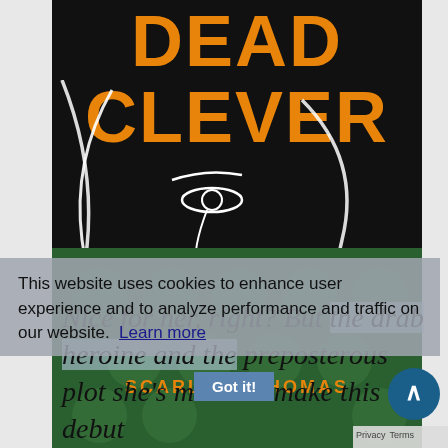[Figure (photo): Book cover of 'Dead Clever' by Scarlett Thomas. Black background with large orange bold title text 'DEAD CLEVER' at top. White line-art illustration of a woman's face in profile. Lower portion has dark green background with lighter green polka dots. Author name 'SCARLETT THOMAS' in orange text at bottom.]
This website uses cookies to enhance user experience and to analyze performance and traffic on our website. Learn more
Nice for her, right? But the drab heroine and the preposterous plot she's mired in make this debut